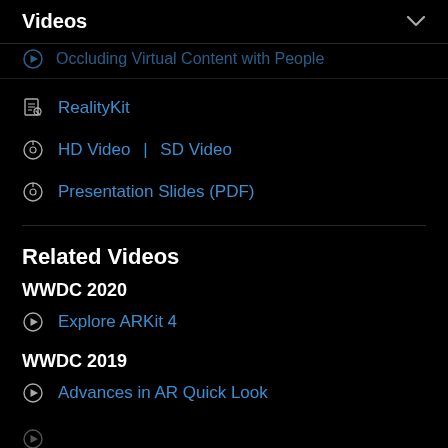Videos
Occluding Virtual Content with People
RealityKit
HD Video | SD Video
Presentation Slides (PDF)
Related Videos
WWDC 2020
Explore ARKit 4
WWDC 2019
Advances in AR Quick Look